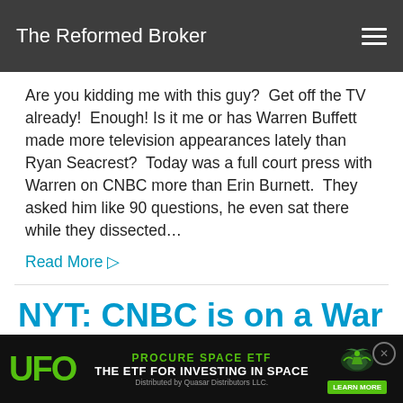The Reformed Broker
Are you kidding me with this guy?  Get off the TV already!  Enough! Is it me or has Warren Buffett made more television appearances lately than Ryan Seacrest?  Today was a full court press with Warren on CNBC more than Erin Burnett.  They asked him like 90 questions, he even sat there while they dissected…
Read More →
NYT: CNBC is on a War Fo…
Fair…
[Figure (advertisement): UFO - Procure Space ETF advertisement. Text: PROCURE SPACE ETF, UFO, THE ETF FOR INVESTING IN SPACE, Distributed by Quasar Distributors LLC., LEARN MORE. Green dragon logo on right.]